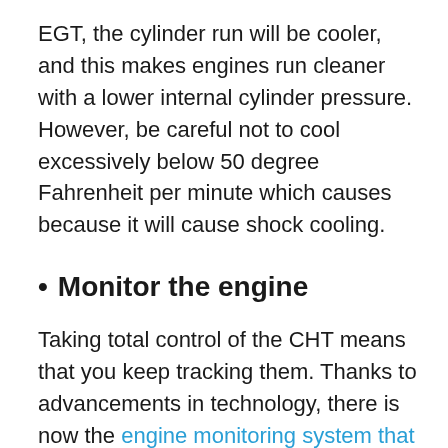EGT, the cylinder run will be cooler, and this makes engines run cleaner with a lower internal cylinder pressure. However, be careful not to cool excessively below 50 degree Fahrenheit per minute which causes because it will cause shock cooling.
Monitor the engine
Taking total control of the CHT means that you keep tracking them. Thanks to advancements in technology, there is now the engine monitoring system that